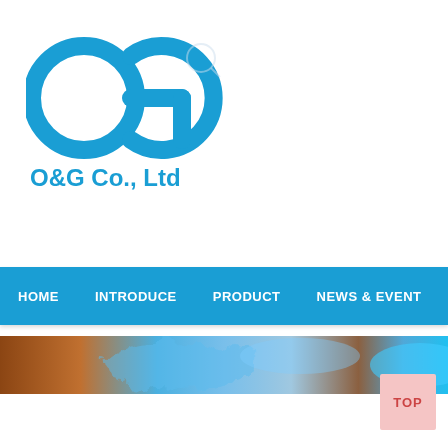[Figure (logo): O&G Co., Ltd company logo with circular OG letters in blue and text 'O&G Co., Ltd' below]
HOME   INTRODUCE   PRODUCT   NEWS & EVENTS
[Figure (photo): Banner image showing abstract blue and brown/copper swirls or smoke]
[Figure (other): TOP button in bottom right corner, pink/light red background]